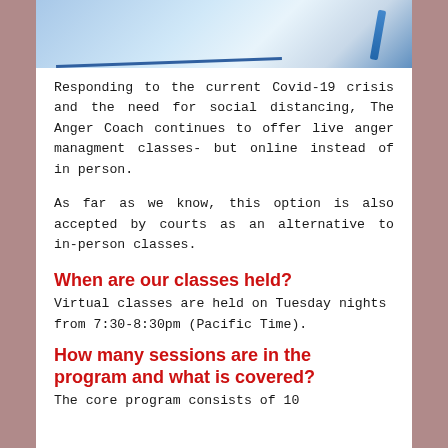[Figure (photo): Photo of a pen resting on a notebook/notepad with blue lines, likely a spiral notebook, with a blue pen visible at the top.]
Responding to the current Covid-19 crisis and the need for social distancing, The Anger Coach continues to offer live anger managment classes- but online instead of in person.
As far as we know, this option is also accepted by courts as an alternative to in-person classes.
When are our classes held?
Virtual classes are held on Tuesday nights from 7:30-8:30pm (Pacific Time).
How many sessions are in the program and what is covered?
The core program consists of 10